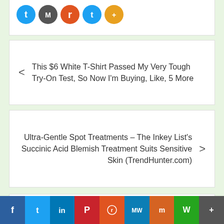[Figure (illustration): Row of colorful social share icon circles (blue, dark, orange-red, light blue, yellow-orange) partially visible at the top of the page]
< This $6 White T-Shirt Passed My Very Tough Try-On Test, So Now I'm Buying, Like, 5 More
Ultra-Gentle Spot Treatments – The Inkey List's Succinic Acid Blemish Treatment Suits Sensitive Skin (TrendHunter.com) >
Leave a Reply
Your email address will not be published. Required fields are marked *
[Figure (other): Bottom social sharing bar with icons for Facebook, Twitter, LinkedIn, Pinterest, Reddit, MeWe, Mix, WhatsApp, More]